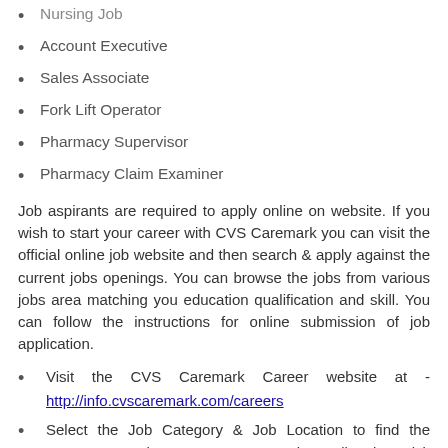Nursing Job
Account Executive
Sales Associate
Fork Lift Operator
Pharmacy Supervisor
Pharmacy Claim Examiner
Job aspirants are required to apply online on website. If you wish to start your career with CVS Caremark you can visit the official online job website and then search & apply against the current jobs openings. You can browse the jobs from various jobs area matching you education qualification and skill. You can follow the instructions for online submission of job application.
Visit the CVS Caremark Career website at - http://info.cvscaremark.com/careers
Select the Job Category & Job Location to find the current openings. You can also directly visit www.jobs.cvscaremark.com and search the jobs using category, location, groups or by making advanced search. Here you can explore the